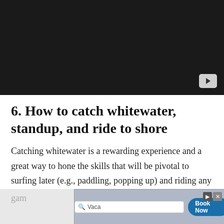[Figure (screenshot): Dark video player thumbnail with a play button in the bottom right corner]
6. How to catch whitewater, standup, and ride to shore
Catching whitewater is a rewarding experience and a great way to hone the skills that will be pivotal to surfing later (e.g., paddling, popping up) and riding any kind of surf is motivating enough to keep you in the gam
[Figure (screenshot): Advertisement overlay with search bar showing 'Vaca' query and Book Now button]